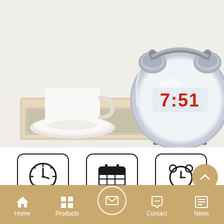[Figure (photo): Product photo of a silver chrome twin-bell alarm clock with LED digital display showing 7:51, placed on a magazine/tray next to a white coffee cup and saucer on a white surface. The clock face is mirror-like with red digital numerals.]
[Figure (infographic): Three feature icons in rounded-rectangle boxes: 1) Clock icon labeled 'Time', 2) Calendar icon labeled 'Calendar', 3) Alarm clock icon labeled 'Alarm']
Time
Calendar
Alarm
Home  Products  Contact  News